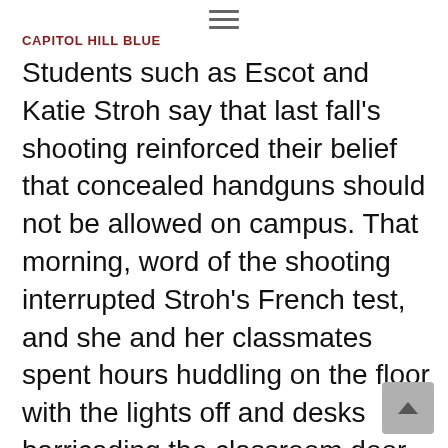CAPITOL HILL BLUE
Students such as Escot and Katie Stroh say that last fall's shooting reinforced their belief that concealed handguns should not be allowed on campus. That morning, word of the shooting interrupted Stroh's French test, and she and her classmates spent hours huddling on the floor with the lights off and desks barricading the classroom door.
“A classroom is someplace that people need to feel comfortable with each other,”